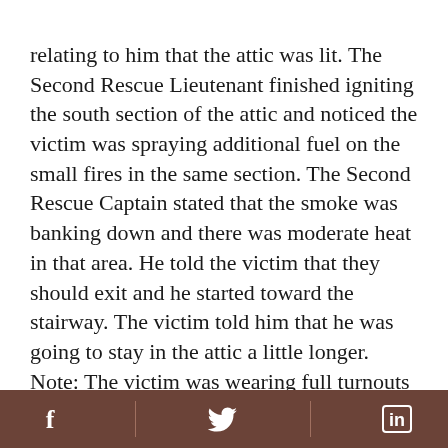relating to him that the attic was lit. The Second Rescue Lieutenant finished igniting the south section of the attic and noticed the victim was spraying additional fuel on the small fires in the same section. The Second Rescue Captain stated that the smoke was banking down and there was moderate heat in that area. He told the victim that they should exit and he started toward the stairway. The victim told him that he was going to stay in the attic a little longer. Note: The victim was wearing full turnouts and a SCBA. It was noted in the investigation that this was the first time the victim had worn a SCBA while igniting a controlled burn. The Second Rescue Lieutenant noticed the heat intensifying and the smoke was banked to the floor as he made his way closer to the stairway. He went halfway down the
Facebook | Twitter | LinkedIn